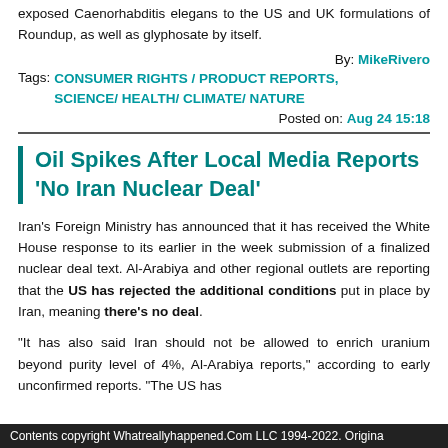exposed Caenorhabditis elegans to the US and UK formulations of Roundup, as well as glyphosate by itself.
By: MikeRivero
Tags: CONSUMER RIGHTS / PRODUCT REPORTS, SCIENCE/ HEALTH/ CLIMATE/ NATURE
Posted on: Aug 24 15:18
Oil Spikes After Local Media Reports 'No Iran Nuclear Deal'
Iran's Foreign Ministry has announced that it has received the White House response to its earlier in the week submission of a finalized nuclear deal text. Al-Arabiya and other regional outlets are reporting that the US has rejected the additional conditions put in place by Iran, meaning there's no deal.
"It has also said Iran should not be allowed to enrich uranium beyond purity level of 4%, Al-Arabiya reports," according to early unconfirmed reports. "The US has
Contents copyright Whatreallyhappened.Com LLC 1994-2022. Origina